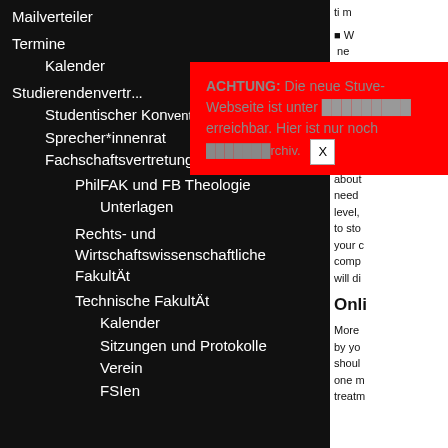Mailverteiler
Termine
Kalender
Studierendenvertr...
Studentischer Konvent
Sprecher*innenrat
Fachschaftsvertretungen
PhilFAK und FB Theologie
Unterlagen
Rechts- und Wirtschaftswissenschaftliche Fakultät
Technische Fakultät
Kalender
Sitzungen und Protokolle
Verein
FSIen
[Figure (screenshot): Red popup notification box with text: ACHTUNG: Die neue Stuve-Webseite ist unter [link] erreichbar. Hier ist nur noch [archiv.] with a close button X]
ti m...
W... ne... pa...
Or... fee... co... ob...
It's im about need level, to sto your c comp will di...
Onli...
More by yo shoul one m treatm...